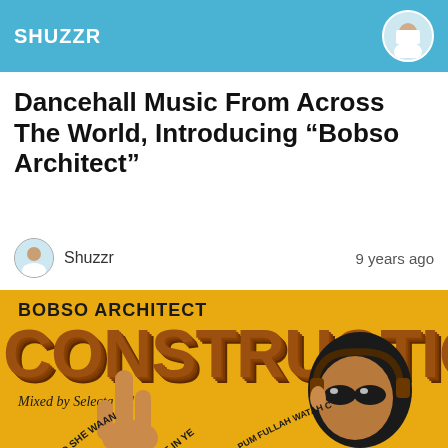SHUZZR
Dancehall Music From Across The World, Introducing “Bobso Architect”
Shuzzr    9 years ago
[Figure (illustration): Album cover for Bobso Architect - Construction, Mixed by Selecta Killa. Yellow background with large brown 3D text reading CONSTRUCTION, smaller black bold text BOBSO ARCHITECT above, and illustrated cartoon figure with headphones and curving text around the image reading phrases like SO SHE WAAN FINE, PUM FULLAH WATAH COCKY GET DI BL...]